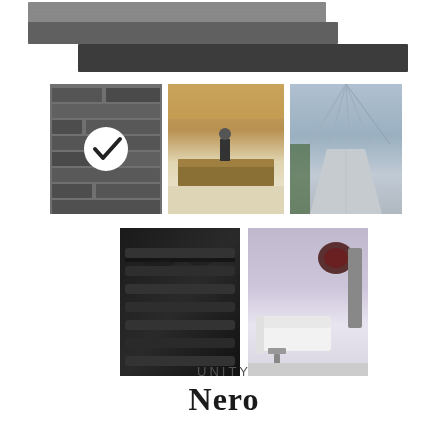[Figure (illustration): Three overlapping dark stone/tile slab samples shown at top of page in dark grey and charcoal tones]
[Figure (photo): Dark grey mosaic tile pattern with a white circle checkmark overlay indicating selected product]
[Figure (photo): Hotel lobby with reception desk and warm amber lighting]
[Figure (photo): Airport or modern building corridor with glass ceiling and perspective view]
[Figure (photo): Dark theater or restaurant interior with black chairs and tables in rows]
[Figure (photo): Modern living room with white sofa, decorative wall art, and grey/purple tones]
UNITY
Nero